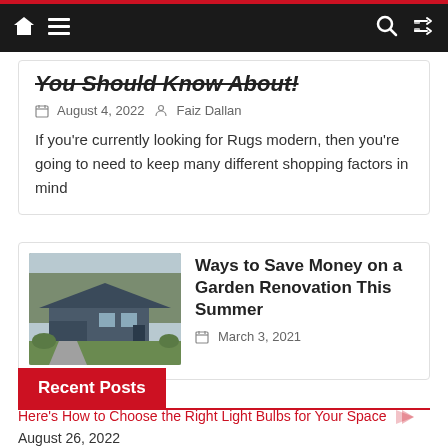Navigation bar with home, menu, search, and shuffle icons
You Should Know About!
August 4, 2022  Faiz Dallan
If you're currently looking for Rugs modern, then you're going to need to keep many different shopping factors in mind
[Figure (photo): Photo of a ranch-style house with a driveway, trees in the background, and green lawn]
Ways to Save Money on a Garden Renovation This Summer
March 3, 2021
Recent Posts
Here's How to Choose the Right Light Bulbs for Your Space
August 26, 2022